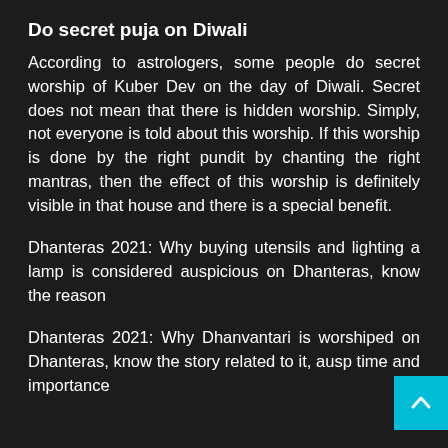Do secret puja on Diwali
According to astrologers, some people do secret worship of Kuber Dev on the day of Diwali. Secret does not mean that there is hidden worship. Simply, not everyone is told about this worship. If this worship is done by the right pundit by chanting the right mantras, then the effect of this worship is definitely visible in that house and there is a special benefit.
Dhanteras 2021: Why buying utensils and lighting a lamp is considered auspicious on Dhanteras, know the reason
Dhanteras 2021: Why Dhanvantari is worshiped on Dhanteras, know the story related to it, ausp time and importance